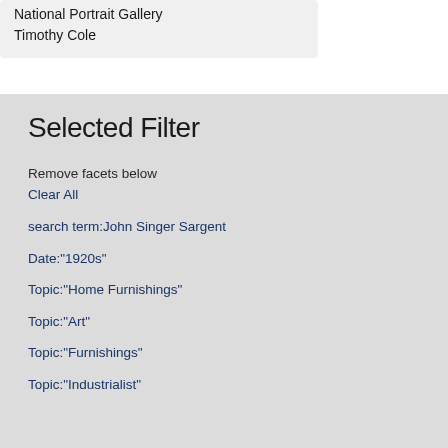National Portrait Gallery
Timothy Cole
Selected Filter
Remove facets below
Clear All
search term:John Singer Sargent
Date:"1920s"
Topic:"Home Furnishings"
Topic:"Art"
Topic:"Furnishings"
Topic:"Industrialist"